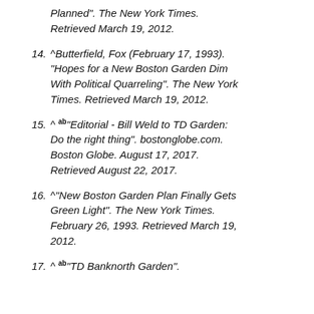Planned". The New York Times. Retrieved March 19, 2012.
14. ^ Butterfield, Fox (February 17, 1993). "Hopes for a New Boston Garden Dim With Political Quarreling". The New York Times. Retrieved March 19, 2012.
15. ^ ab "Editorial - Bill Weld to TD Garden: Do the right thing". bostonglobe.com. Boston Globe. August 17, 2017. Retrieved August 22, 2017.
16. ^ "New Boston Garden Plan Finally Gets Green Light". The New York Times. February 26, 1993. Retrieved March 19, 2012.
17. ^ ab "TD Banknorth Garden".